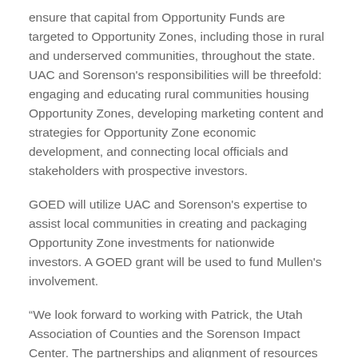ensure that capital from Opportunity Funds are targeted to Opportunity Zones, including those in rural and underserved communities, throughout the state. UAC and Sorenson's responsibilities will be threefold: engaging and educating rural communities housing Opportunity Zones, developing marketing content and strategies for Opportunity Zone economic development, and connecting local officials and stakeholders with prospective investors.
GOED will utilize UAC and Sorenson's expertise to assist local communities in creating and packaging Opportunity Zone investments for nationwide investors. A GOED grant will be used to fund Mullen's involvement.
“We look forward to working with Patrick, the Utah Association of Counties and the Sorenson Impact Center. The partnerships and alignment of resources will be very beneficial to our rural communities,” said Ginger Chinn,